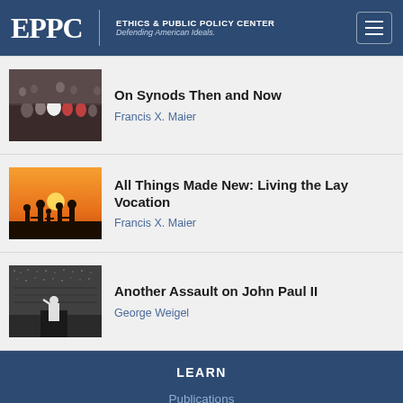EPPC | ETHICS & PUBLIC POLICY CENTER Defending American Ideals.
On Synods Then and Now
Francis X. Maier
All Things Made New: Living the Lay Vocation
Francis X. Maier
Another Assault on John Paul II
George Weigel
LEARN
Publications
Programs